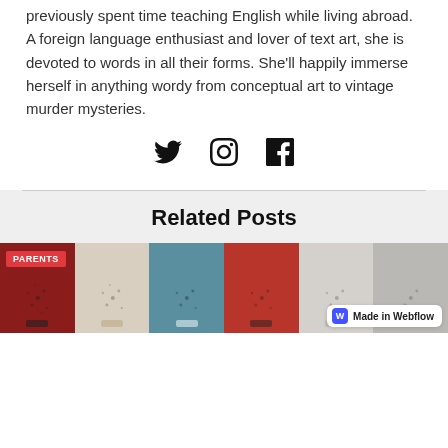previously spent time teaching English while living abroad. A foreign language enthusiast and lover of text art, she is devoted to words in all their forms. She'll happily immerse herself in anything wordy from conceptual art to vintage murder mysteries.
[Figure (infographic): Social media icons: Twitter bird, Instagram camera, Facebook F]
Related Posts
[Figure (photo): Row of blog post thumbnail images with colored backgrounds (dark red, beige, teal, red, light gray, dark gray) showing artistic number/letter compositions. First thumbnail has a red 'PARENTS' badge. A 'Made in Webflow' badge appears in the bottom right corner.]